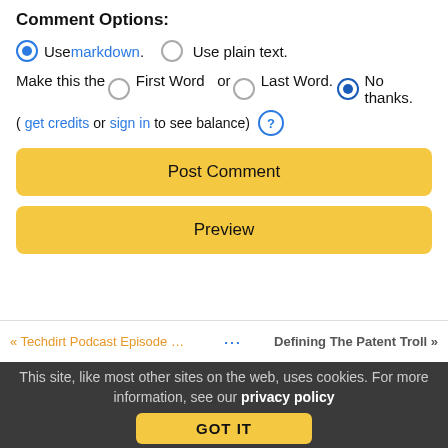Comment Options:
Use markdown. Use plain text.
Make this the First Word or Last Word. No thanks.
(get credits or sign in to see balance) ?
Post Comment
Preview
<< Techdirt Podcast Episode 3: A...   Defining The Patent Troll >>
This site, like most other sites on the web, uses cookies. For more information, see our privacy policy
GOT IT